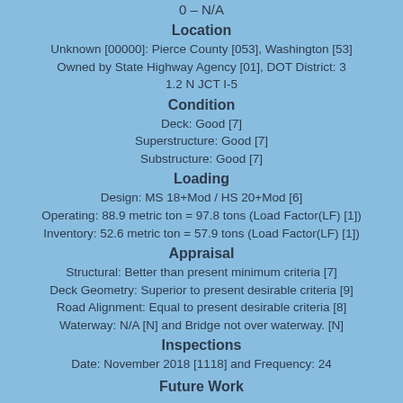0 – N/A
Location
Unknown [00000]: Pierce County [053], Washington [53]
Owned by State Highway Agency [01], DOT District: 3
1.2 N JCT I-5
Condition
Deck: Good [7]
Superstructure: Good [7]
Substructure: Good [7]
Loading
Design: MS 18+Mod / HS 20+Mod [6]
Operating: 88.9 metric ton = 97.8 tons (Load Factor(LF) [1])
Inventory: 52.6 metric ton = 57.9 tons (Load Factor(LF) [1])
Appraisal
Structural: Better than present minimum criteria [7]
Deck Geometry: Superior to present desirable criteria [9]
Road Alignment: Equal to present desirable criteria [8]
Waterway: N/A [N] and Bridge not over waterway. [N]
Inspections
Date: November 2018 [1118] and Frequency: 24
Future Work